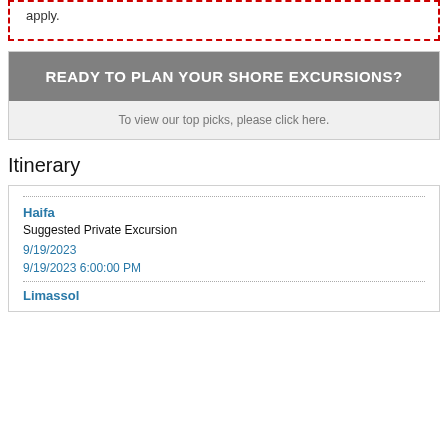apply.
READY TO PLAN YOUR SHORE EXCURSIONS?
To view our top picks, please click here.
Itinerary
Haifa
Suggested Private Excursion
9/19/2023
9/19/2023 6:00:00 PM
Limassol